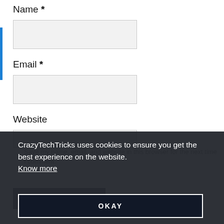Name *
[Figure (screenshot): Text input field for Name (empty, light gray background)]
Email *
[Figure (screenshot): Text input field for Email (empty, light gray background)]
Website
[Figure (screenshot): Text input field for Website (empty, light gray background)]
CrazyTechTricks uses cookies to ensure you get the best experience on the website.
Know more
OKAY
Save my name, email, and website in this browser for the next time I comment.
POST COMMENT